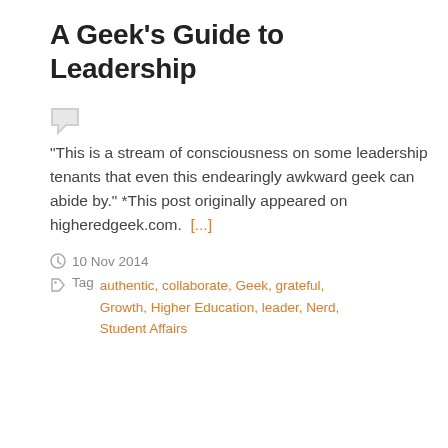A Geek’s Guide to Leadership
[Figure (other): Speech bubble / comment icon in light grey]
“This is a stream of consciousness on some leadership tenants that even this endearingly awkward geek can abide by.” *This post originally appeared on higheredgeek.com.  [...]
10 Nov 2014
Tag  authentic, collaborate, Geek, grateful, Growth, Higher Education, leader, Nerd, Student Affairs